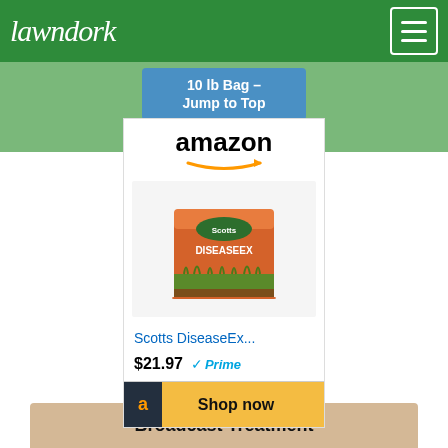lawndork
10 lb Bag - Jump to Top
[Figure (screenshot): Amazon product widget showing Scotts DiseaseEx fungicide product with price $21.97, Prime badge, and Shop now button]
Scotts DiseaseEx...
$21.97 Prime
Shop now
3,631
Read the Reviews
CertainLabel™ for Scotts Disease Ex & Southern Blight
Broadcast Treatment